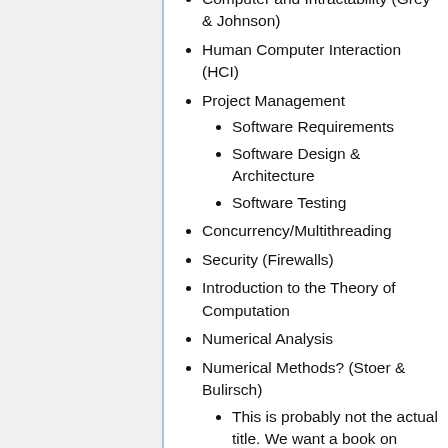Computer and Intractability (Grey & Johnson)
Human Computer Interaction (HCI)
Project Management
Software Requirements
Software Design & Architecture
Software Testing
Concurrency/Multithreading
Security (Firewalls)
Introduction to the Theory of Computation
Numerical Analysis
Numerical Methods? (Stoer & Bulirsch)
This is probably not the actual title. We want a book on numerical methods by Stoer & Bulirsch
Computer Systems: A Programmer's